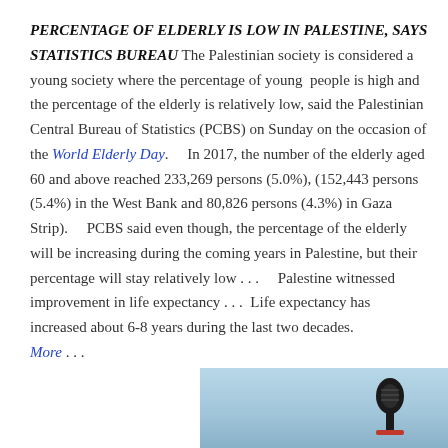PERCENTAGE OF ELDERLY IS LOW IN PALESTINE, SAYS STATISTICS BUREAU The Palestinian society is considered a young society where the percentage of young people is high and the percentage of the elderly is relatively low, said the Palestinian Central Bureau of Statistics (PCBS) on Sunday on the occasion of the World Elderly Day. ___In 2017, the number of the elderly aged 60 and above reached 233,269 persons (5.0%), (152,443 persons (5.4%) in the West Bank and 80,826 persons (4.3%) in Gaza Strip). ___PCBS said even though, the percentage of the elderly will be increasing during the coming years in Palestine, but their percentage will stay relatively low . . . ___Palestine witnessed improvement in life expectancy . . . Life expectancy has increased about 6-8 years during the last two decades. More . . .
[Figure (photo): A photo at the bottom right of the page showing a microphone or similar object against a light blue sky background.]